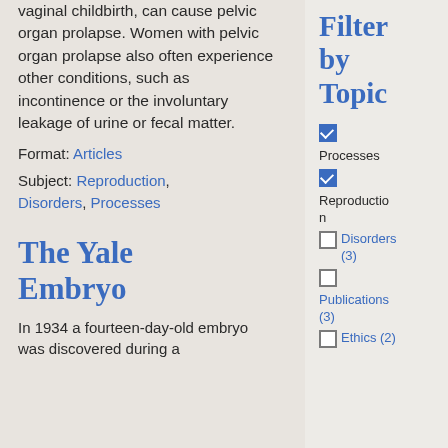vaginal childbirth, can cause pelvic organ prolapse. Women with pelvic organ prolapse also often experience other conditions, such as incontinence or the involuntary leakage of urine or fecal matter.
Format: Articles
Subject: Reproduction, Disorders, Processes
The Yale Embryo
In 1934 a fourteen-day-old embryo was discovered during a...
Filter by Topic
Processes
Reproduction
Disorders (3)
Publications (3)
Ethics (2)